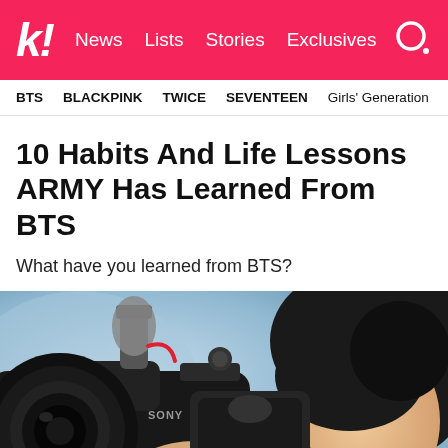k! News Lists Stories Exclusives
BTS   BLACKPINK   TWICE   SEVENTEEN   Girls' Generation
10 Habits And Life Lessons ARMY Has Learned From BTS
What have you learned from BTS?
[Figure (photo): A young man holding a Sony camera with a microphone attached, smiling as he looks through the viewfinder]